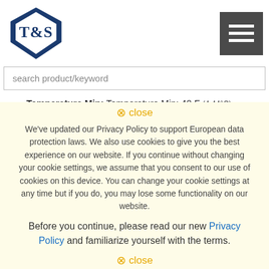[Figure (logo): T&S Brass logo — shield/diamond shape with T&S text inside]
[Figure (other): Hamburger menu button (three horizontal white lines on dark grey background)]
search product/keyword
Temperature Min: Temperature Min: 40 F (4.44°C)
Downloads
close
We've updated our Privacy Policy to support European data protection laws. We also use cookies to give you the best experience on our website. If you continue without changing your cookie settings, we assume that you consent to our use of cookies on this device. You can change your cookie settings at any time but if you do, you may lose some functionality on our website.
Before you continue, please read our new Privacy Policy and familiarize yourself with the terms.
Specification Sheet — T&S...
Installation Instructions — ...
Submittal — ...
Warranty: One Year (Limited)
close